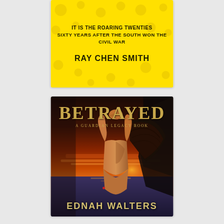[Figure (illustration): Book cover (top, partial): Yellow background with decorative pattern. Text reads 'IT IS THE ROARING TWENTIES / SIXTY YEARS AFTER THE SOUTH WON THE CIVIL WAR' and author name 'RAY CHEN SMITH'. Displayed in a white-bordered card.]
[Figure (illustration): Book cover (bottom): 'BETRAYED - A GUARDIAN LEGACY BOOK' by EDNAH WALTERS. Dark fantasy cover showing a muscular winged figure with arms raised against a dramatic sunset sky over the ocean. Gold/amber title lettering. Displayed in a white-bordered card.]